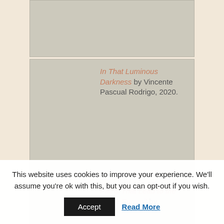[Figure (other): Top card with gray image placeholder, no text visible]
In That Luminous Darkness by Vincente Pascual Rodrigo, 2020.
Paths That Lead to the Same Summit by
This website uses cookies to improve your experience. We'll assume you're ok with this, but you can opt-out if you wish.